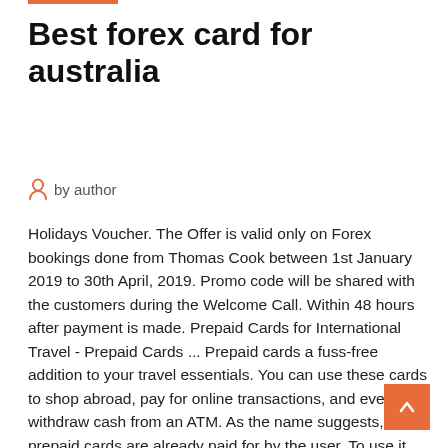Best forex card for australia
by author
Holidays Voucher. The Offer is valid only on Forex bookings done from Thomas Cook between 1st January 2019 to 30th April, 2019. Promo code will be shared with the customers during the Welcome Call. Within 48 hours after payment is made. Prepaid Cards for International Travel - Prepaid Cards ... Prepaid cards a fuss-free addition to your travel essentials. You can use these cards to shop abroad, pay for online transactions, and even withdraw cash from an ATM. As the name suggests, prepaid cards are already paid for by the user. To use it, you have to choose your preferred currency and load Forex Brokers with Debit Card Some forex brokers offer their customers special debit cards, which let traders make fast, easy and secure deposits and withdrawals from their accounts. Often, these cards also have some extended...